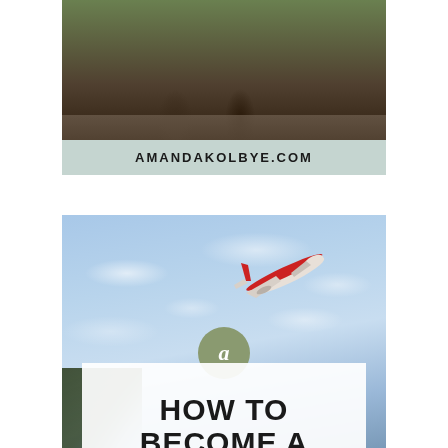[Figure (photo): Two hikers/travelers sitting on a stone wall overlooking a green mountainous landscape, viewed from behind. One person wears a yellow jacket with a backpack, the other holds binoculars. The website banner 'AMANDAKOLBYE.COM' appears below the photo on a light teal/sage background.]
[Figure (photo): Looking up at a blue partly-cloudy sky with a red and white commercial airplane flying overhead. Palm tree leaves visible in the lower left corner. Overlaid is a sage green circle with an italic 'a' logo and a white card with text 'HOW TO BECOME A'.]